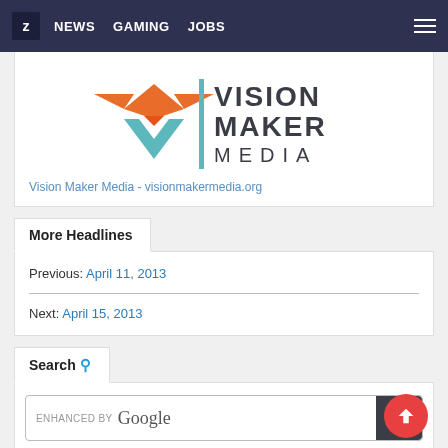Z NEWS GAMING JOBS
[Figure (logo): Vision Maker Media logo with orange hawk and teal geometric shapes]
Vision Maker Media - visionmakermedia.org
More Headlines
Previous: April 11, 2013
Next: April 15, 2013
Search
[Figure (screenshot): Google search bar with ENHANCED BY Google label and search button]